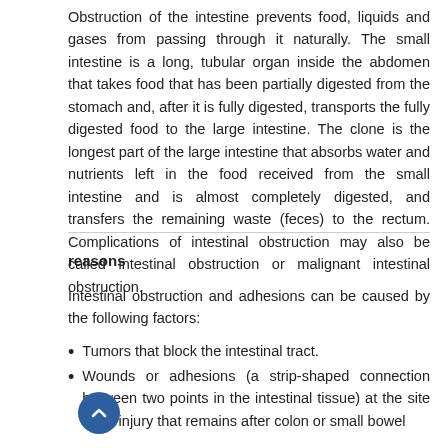Obstruction of the intestine prevents food, liquids and gases from passing through it naturally. The small intestine is a long, tubular organ inside the abdomen that takes food that has been partially digested from the stomach and, after it is fully digested, transports the fully digested food to the large intestine. The clone is the longest part of the large intestine that absorbs water and nutrients left in the food received from the small intestine and is almost completely digested, and transfers the remaining waste (feces) to the rectum. Complications of intestinal obstruction may also be called intestinal obstruction or malignant intestinal obstruction.
reasons
Intestinal obstruction and adhesions can be caused by the following factors:
Tumors that block the intestinal tract.
Wounds or adhesions (a strip-shaped connection between two points in the intestinal tissue) at the site of an injury that remains after colon or small bowel